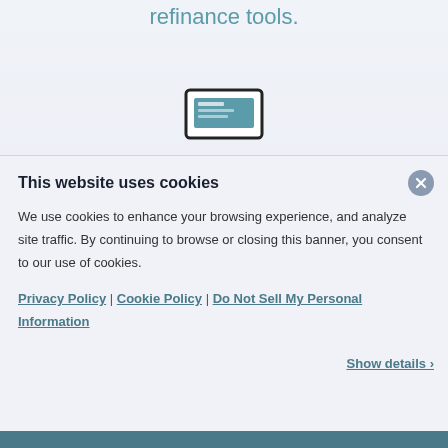refinance tools.
[Figure (illustration): Laptop/monitor icon with teal screen]
This website uses cookies
We use cookies to enhance your browsing experience, and analyze site traffic. By continuing to browse or closing this banner, you consent to our use of cookies.
Privacy Policy | Cookie Policy | Do Not Sell My Personal Information
Show details >
ACCEPT